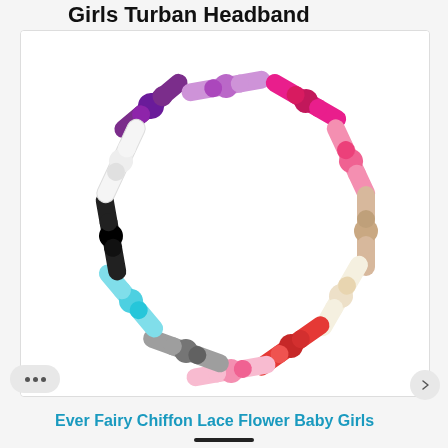Girls Turban Headband
[Figure (photo): A circular arrangement of 12 colorful flower lace headbands for baby girls, displayed in a fan/wheel pattern on a white background. Colors include purple, lavender, hot pink, pink, salmon, beige/nude, cream/ivory, red, pink, gray, light blue, black, and white.]
Ever Fairy Chiffon Lace Flower Baby Girls